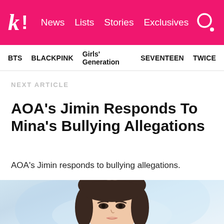k! News Lists Stories Exclusives
BTS  BLACKPINK  Girls' Generation  SEVENTEEN  TWICE
NEXT ARTICLE
AOA's Jimin Responds To Mina's Bullying Allegations
AOA's Jimin responds to bullying allegations.
[Figure (photo): Close-up photo of a young East Asian woman with dark brown shoulder-length hair with bangs, against a soft blurred blue and white background.]